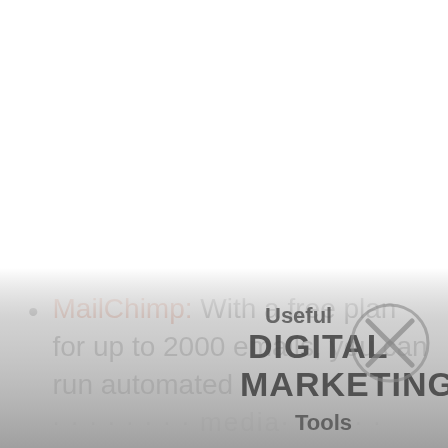MailChimp: With a free plan for up to 2000 emails, you can run automated media...
[Figure (photo): Partially visible image of a book or signage reading 'Useful DIGITAL MARKETING Tools' with an X icon overlaid, fading into the page content]